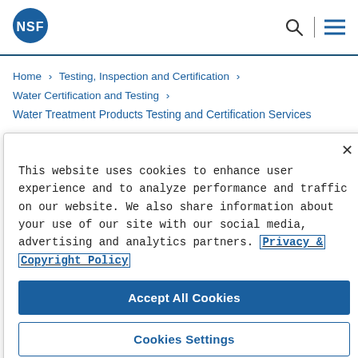[Figure (logo): NSF logo — white letters 'NSF' on a blue circle]
NSF logo, search icon, menu icon
Home > Testing, Inspection and Certification > Water Certification and Testing > Water Treatment Products Testing and Certification Services
This website uses cookies to enhance user experience and to analyze performance and traffic on our website. We also share information about your use of our site with our social media, advertising and analytics partners. Privacy & Copyright Policy
Accept All Cookies
Cookies Settings